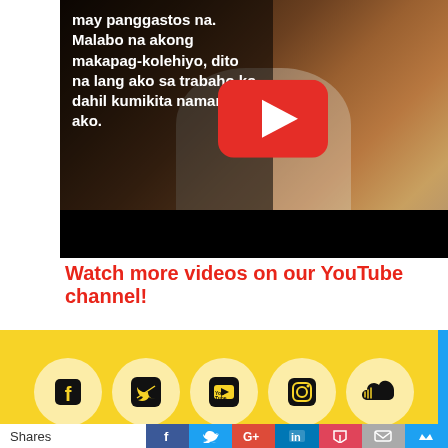[Figure (screenshot): YouTube video screenshot showing a person wearing a white shirt with a red YouTube play button overlay. White text on the left reads: may panggastos na. Malabo na akong makapag-kolehiyo, dito na lang ako sa trabaho ko dahil kumikita naman ako.]
Watch more videos on our YouTube channel!
[Figure (infographic): Yellow background section with five circular social media icons: Facebook, Twitter, YouTube, Instagram, and SoundCloud]
Shares | Facebook | Twitter | Google+ | LinkedIn | Pocket | Email | Crown